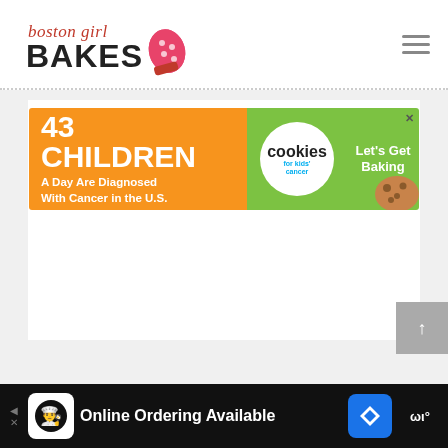[Figure (logo): Boston Girl Bakes logo with cursive 'boston girl' text in pink/dark and bold 'BAKES' with a pink polka-dot oven mitt]
[Figure (infographic): Advertisement banner: orange left section '43 CHILDREN A Day Are Diagnosed With Cancer in the U.S.', green middle section with Cookies for Kids' Cancer circular badge, green right section 'Let's Get Baking' with cookie illustration and X close button]
[Figure (infographic): Bottom app advertisement bar on black background showing a restaurant app icon, 'Online Ordering Available' text, navigation arrow icon, and Waze icon]